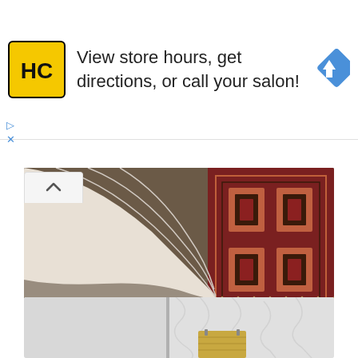[Figure (screenshot): Advertisement banner for Hair Club (HC) salon with yellow/black logo, text 'View store hours, get directions, or call your salon!' and a blue navigation diamond icon on the right.]
[Figure (photo): A bedroom photo showing a white bedspread/duvet hanging off a bed with an ornate burgundy/rust patterned rug visible beneath and beside it on a brown tiled floor.]
a fall colored bedroom with rust and orange textiles, a burgundy rug and some chocolate brown here and there
[Figure (photo): Partial view of a white textured wall/panel with a small yellow/gold towel hanging from hooks, shown from below.]